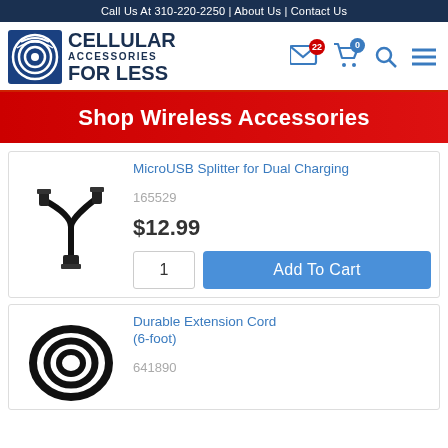Call Us At 310-220-2250 | About Us | Contact Us
[Figure (logo): Cellular Accessories For Less logo with circular signal icon and blue text]
Shop Wireless Accessories
MicroUSB Splitter for Dual Charging
[Figure (photo): Black MicroUSB Y-splitter cable with one female end and two male micro-USB ends]
165529
$12.99
Durable Extension Cord (6-foot)
[Figure (photo): Black 6-foot extension cord coiled into a circular shape]
641890